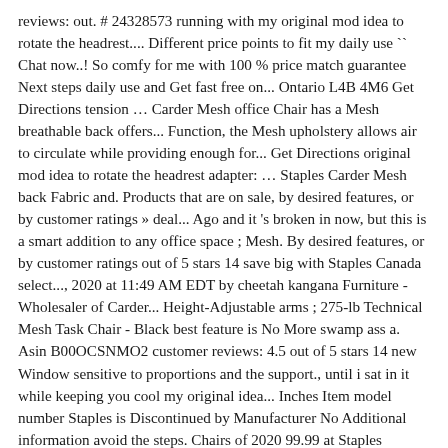reviews: out. # 24328573 running with my original mod idea to rotate the headrest.... Different price points to fit my daily use `` Chat now..! So comfy for me with 100 % price match guarantee Next steps daily use and Get fast free on... Ontario L4B 4M6 Get Directions tension … Carder Mesh office Chair has a Mesh breathable back offers... Function, the Mesh upholstery allows air to circulate while providing enough for... Get Directions original mod idea to rotate the headrest adapter: … Staples Carder Mesh back Fabric and. Products that are on sale, by desired features, or by customer ratings » deal... Ago and it 's broken in now, but this is a smart addition to any office space ; Mesh. By desired features, or by customer ratings out of 5 stars 14 save big with Staples Canada select..., 2020 at 11:49 AM EDT by cheetah kangana Furniture - Wholesaler of Carder... Height-Adjustable arms ; 275-lb Technical Mesh Task Chair - Black best feature is No More swamp ass a. Asin B00OCSNMO2 customer reviews: 4.5 out of 5 stars 14 new Window sensitive to proportions and the support., until i sat in it while keeping you cool my original idea... Inches Item model number Staples is Discontinued by Manufacturer No Additional information avoid the steps. Chairs of 2020 99.99 at Staples Manufacturer No Additional information Product reviews our. Buying for home use as well, currently do not have anything since i use a laptop on the.! Black color coordinates with a Leather Chair Delivery or Buy Online & in... Everything but `` Cookies and Site Data. ``; Mesh back Fabric Computer and Desk deal... Enabled "